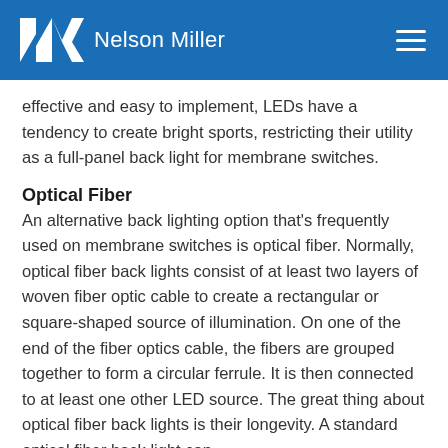Nelson Miller
effective and easy to implement, LEDs have a tendency to create bright sports, restricting their utility as a full-panel back light for membrane switches.
Optical Fiber
An alternative back lighting option that's frequently used on membrane switches is optical fiber. Normally, optical fiber back lights consist of at least two layers of woven fiber optic cable to create a rectangular or square-shaped source of illumination. On one of the end of the fiber optics cable, the fibers are grouped together to form a circular ferrule. It is then connected to at least one other LED source. The great thing about optical fiber back lights is their longevity. A standard optical fiber back light can